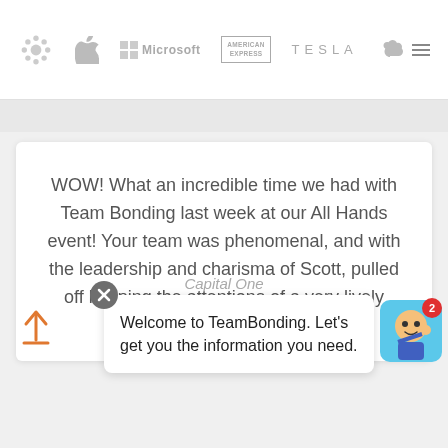[Figure (logo): Row of company logos: a snowflake/gear logo, Apple, Microsoft, American Express, Tesla, Salesforce, and a hamburger menu icon]
WOW! What an incredible time we had with Team Bonding last week at our All Hands event! Your team was phenomenal, and with the leadership and charisma of Scott, pulled off keeping the attentions of a very lively crowd!
Capital One
[Figure (screenshot): Chat popup with close X button and text: Welcome to TeamBonding. Let's get you the information you need.]
Welcome to TeamBonding. Let's get you the information you need.